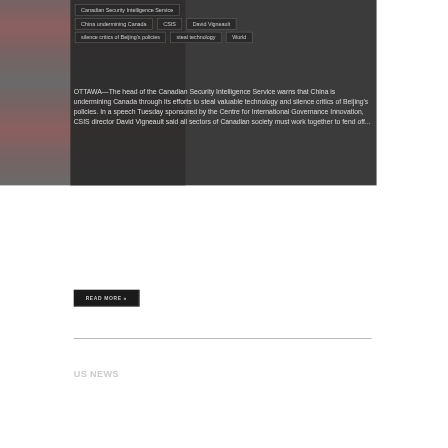Canadian Security Intelligence Service
China undermining Canada
CSIS
David Vigneault
silence critics of Beijing's policies
steal technology
World
OTTAWA—The head of the Canadian Security Intelligence Service warns that China is undermining Canada through its efforts to steal valuable technology and silence critics of Beijing's policies. In a speech Tuesday sponsored by the Centre for International Governance Innovation, CSIS director David Vigneault said all sectors of Canadian society must work together to fend off...
READ MORE »
US NEWS